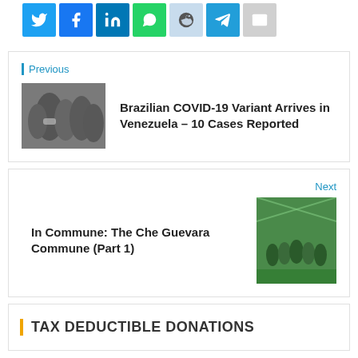[Figure (other): Row of social media share buttons: Twitter (blue), Facebook (blue), LinkedIn (dark blue), WhatsApp (green), Reddit (light blue), Telegram (blue), Email (gray)]
Previous
[Figure (photo): People wearing masks in a crowded street]
Brazilian COVID-19 Variant Arrives in Venezuela – 10 Cases Reported
Next
In Commune: The Che Guevara Commune (Part 1)
[Figure (photo): Group of people in a greenhouse with plants]
TAX DEDUCTIBLE DONATIONS